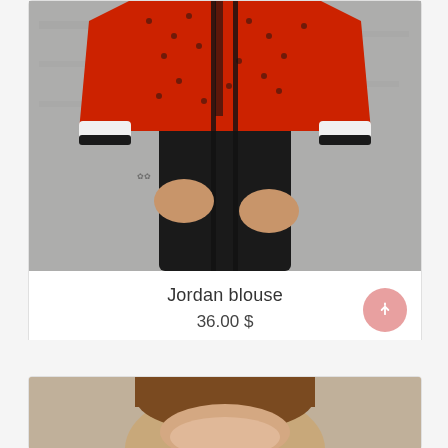[Figure (photo): Woman wearing a red blouse with black and white butterfly/dog print and polka dots, paired with black high-waisted pants and black suspenders. Black and white cuffs visible. Concrete wall background.]
Jordan blouse
36.00 $
[Figure (photo): Partial view of a woman with brown hair, cropped at top of page bottom card.]